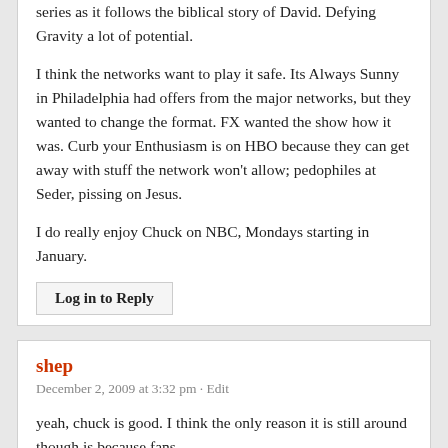series as it follows the biblical story of David. Defying Gravity a lot of potential.
I think the networks want to play it safe. Its Always Sunny in Philadelphia had offers from the major networks, but they wanted to change the format. FX wanted the show how it was. Curb your Enthusiasm is on HBO because they can get away with stuff the network won't allow; pedophiles at Seder, pissing on Jesus.
I do really enjoy Chuck on NBC, Mondays starting in January.
Log in to Reply
shep
December 2, 2009 at 3:32 pm · Edit
yeah, chuck is good. I think the only reason it is still around though is because fans